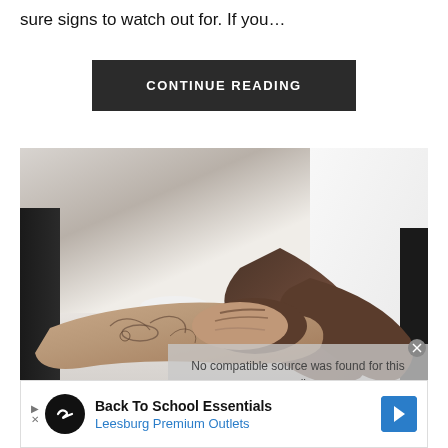sure signs to watch out for. If you…
CONTINUE READING
[Figure (photo): Two people holding hands across a table; one arm has tattoos and the other person is wearing a white shirt. A small white cup is visible on the left. A video overlay reads 'No compatible source was found for this media.']
[Figure (infographic): Advertisement banner: Back To School Essentials, Leesburg Premium Outlets, with a black circular logo showing an infinity-like symbol and a blue diamond arrow icon on the right.]